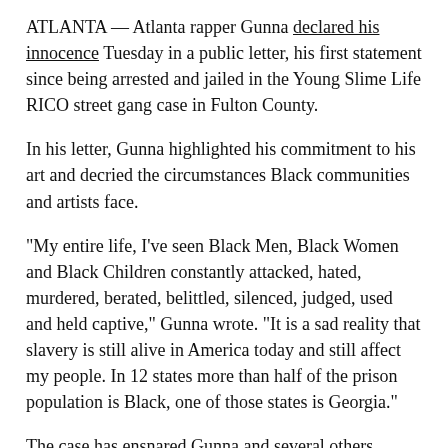ATLANTA — Atlanta rapper Gunna declared his innocence Tuesday in a public letter, his first statement since being arrested and jailed in the Young Slime Life RICO street gang case in Fulton County.
In his letter, Gunna highlighted his commitment to his art and decried the circumstances Black communities and artists face.
"My entire life, I've seen Black Men, Black Women and Black Children constantly attacked, hated, murdered, berated, belittled, silenced, judged, used and held captive," Gunna wrote. "It is a sad reality that slavery is still alive in America today and still affect my people. In 12 states more than half of the prison population is Black, one of those states is Georgia."
The case has ensnared Gunna and several others associated with Young Thug's "Young Stoner Life" label